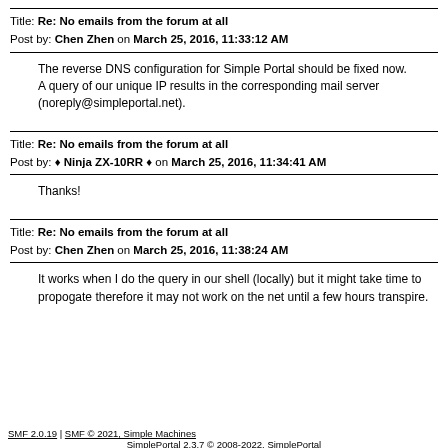Title: Re: No emails from the forum at all
Post by: Chen Zhen on March 25, 2016, 11:33:12 AM
The reverse DNS configuration for Simple Portal should be fixed now.
A query of our unique IP results in the corresponding mail server (noreply@simpleportal.net).
Title: Re: No emails from the forum at all
Post by: ♦ Ninja ZX-10RR ♦ on March 25, 2016, 11:34:41 AM
Thanks!
Title: Re: No emails from the forum at all
Post by: Chen Zhen on March 25, 2016, 11:38:24 AM
It works when I do the query in our shell (locally) but it might take time to propogate therefore it may not work on the net until a few hours transpire.
SMF 2.0.19 | SMF © 2021, Simple Machines
SimplePortal 2.3.7 © 2008-2022, SimplePortal